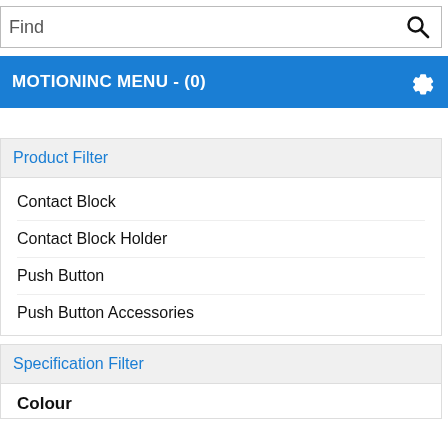Find
MOTIONINC MENU - (0)
Product Filter
Contact Block
Contact Block Holder
Push Button
Push Button Accessories
Specification Filter
Colour